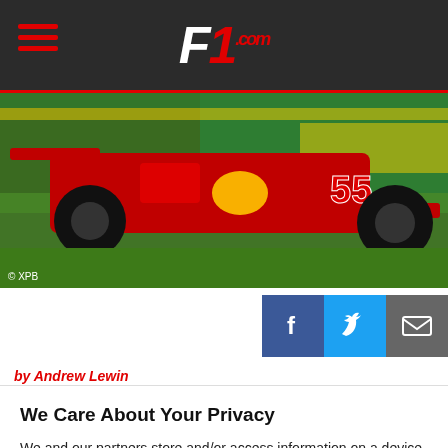F1.com
[Figure (photo): Ferrari Formula 1 car number 55 on a green grass track with Brazilian flag colors in background. Photo credit: XPB]
© XPB
[Figure (infographic): Social share buttons: Facebook (blue), Twitter (blue), Email (grey)]
by Andrew Lewin
We Care About Your Privacy
We and our partners store and/or access information on a device, such as unique IDs in cookies to process personal data. You may accept or manage your choices by clicking below, including your right to object where legitimate interest is used, or at any time in the privacy policy page. These choices will be signaled to our partners and will not affect browsing data.